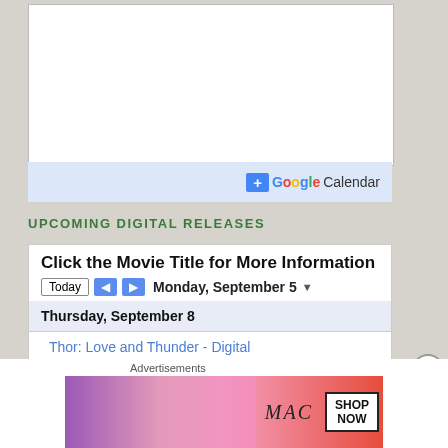[Figure (screenshot): Google Calendar widget embed area with white background box]
[Figure (screenshot): Google Calendar button with blue plus icon and Google Calendar text in brand colors]
UPCOMING DIGITAL RELEASES
Click the Movie Title for More Information
Today | < | > | Monday, September 5 ▾
| Thursday, September 8 |
| Thor: Love and Thunder - Digital |
| Tuesday, September 27 |
| Bodies Bodies Bodies - Digital |
| Fall - Digital |
Advertisements
[Figure (screenshot): MAC cosmetics advertisement showing lipsticks and SHOP NOW button]